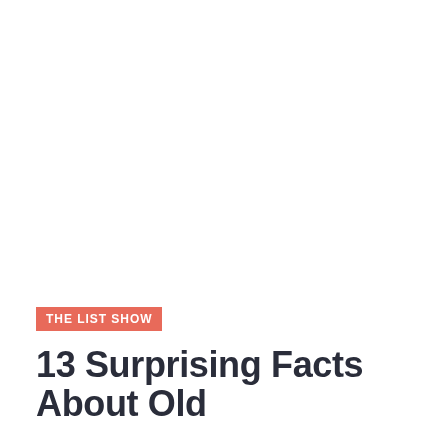THE LIST SHOW
13 Surprising Facts About Old